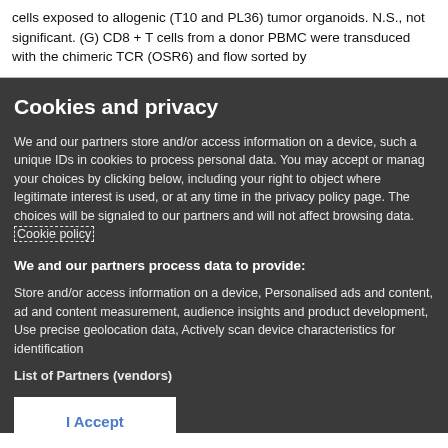cells exposed to allogenic (T10 and PL36) tumor organoids. N.S., not significant. (G) CD8 + T cells from a donor PBMC were transduced with the chimeric TCR (OSR6) and flow sorted by
Cookies and privacy
We and our partners store and/or access information on a device, such as unique IDs in cookies to process personal data. You may accept or manage your choices by clicking below, including your right to object where legitimate interest is used, or at any time in the privacy policy page. These choices will be signaled to our partners and will not affect browsing data. Cookie policy
We and our partners process data to provide:
Store and/or access information on a device, Personalised ads and content, ad and content measurement, audience insights and product development, Use precise geolocation data, Actively scan device characteristics for identification
List of Partners (vendors)
I Accept